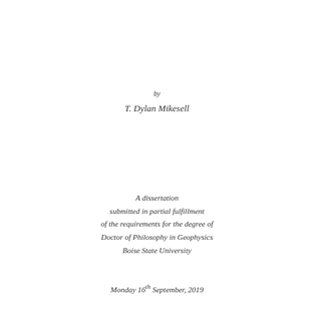by
T. Dylan Mikesell
A dissertation
submitted in partial fulfillment
of the requirements for the degree of
Doctor of Philosophy in Geophysics
Boise State University
Monday 16th September, 2019